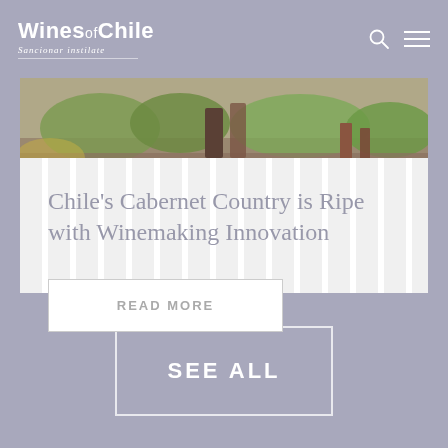Wines of Chile
[Figure (photo): Vineyard scene with rustic stone walls, green grapevine foliage, and wine barrels in background]
Chile's Cabernet Country is Ripe with Winemaking Innovation
READ MORE
SEE ALL